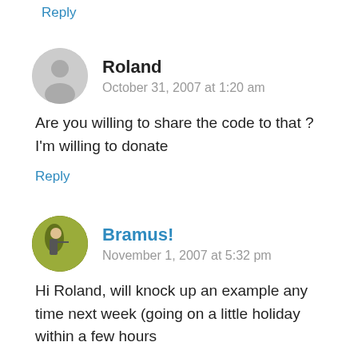Reply
Roland
October 31, 2007 at 1:20 am
Are you willing to share the code to that ? I'm willing to donate
Reply
Bramus!
November 1, 2007 at 5:32 pm
Hi Roland, will knock up an example any time next week (going on a little holiday within a few hours and … it's back till next week)